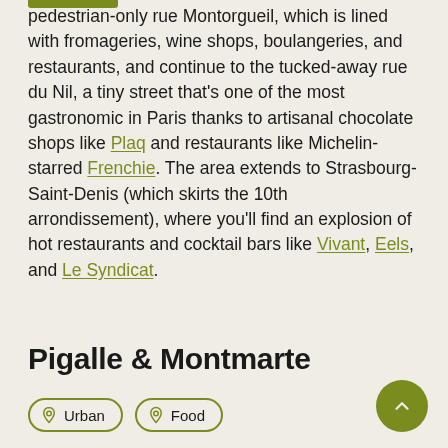pedestrian-only rue Montorgueil, which is lined with fromageries, wine shops, boulangeries, and restaurants, and continue to the tucked-away rue du Nil, a tiny street that's one of the most gastronomic in Paris thanks to artisanal chocolate shops like Plaq and restaurants like Michelin-starred Frenchie. The area extends to Strasbourg-Saint-Denis (which skirts the 10th arrondissement), where you'll find an explosion of hot restaurants and cocktail bars like Vivant, Eels, and Le Syndicat.
Pigalle & Montmarte
Urban
Food